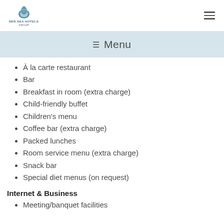Red Sea Hotels logo and hamburger menu
☰ Menu
À la carte restaurant
Bar
Breakfast in room (extra charge)
Child-friendly buffet
Children's menu
Coffee bar (extra charge)
Packed lunches
Room service menu (extra charge)
Snack bar
Special diet menus (on request)
Internet & Business
Meeting/banquet facilities